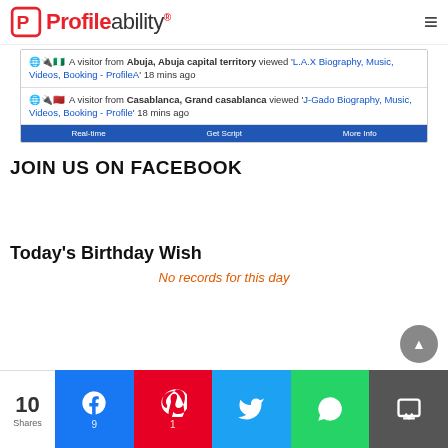Profileability
[Figure (screenshot): Visitor tracking widget showing two visitors: one from Abuja, Abuja capital territory viewed 'L.A.X Biography, Music, Videos, Booking - ProfileA' 18 mins ago; another from Casablanca, Grand casablanca viewed 'J-Gado Biography, Music, Videos, Booking - Profile' 18 mins ago. Widget footer has links: Real-time, Get Script, More Info.]
JOIN US ON FACEBOOK
Today's Birthday Wish
No records for this day
[Figure (screenshot): Social share bar showing 10 Shares total: Facebook (9), Pinterest (1), Twitter, WhatsApp, SMS buttons]